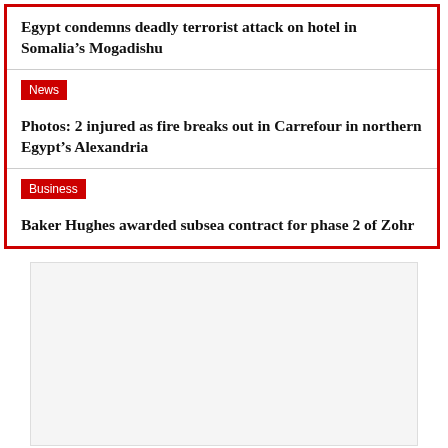Egypt condemns deadly terrorist attack on hotel in Somalia's Mogadishu
News
Photos: 2 injured as fire breaks out in Carrefour in northern Egypt's Alexandria
Business
Baker Hughes awarded subsea contract for phase 2 of Zohr
[Figure (other): Advertisement placeholder box, light gray background with thin border]